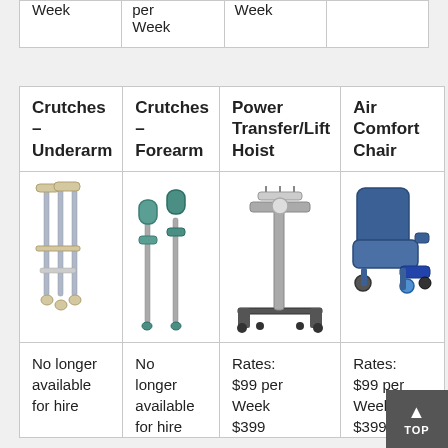|  | per Week |  |  |
| --- | --- | --- | --- |
| Week | per
Week | Week |  |
| Crutches – Underarm | Crutches – Forearm | Power Transfer/Lift Hoist | Air Comfort Chair |
| --- | --- | --- | --- |
| [image: underarm crutches] | [image: forearm crutches] | [image: power lift hoist] | [image: air comfort chair] |
| No longer available for hire | No longer available for hire | Rates: $99 per Week
$399... | Rates: $99 per Week
$399... |